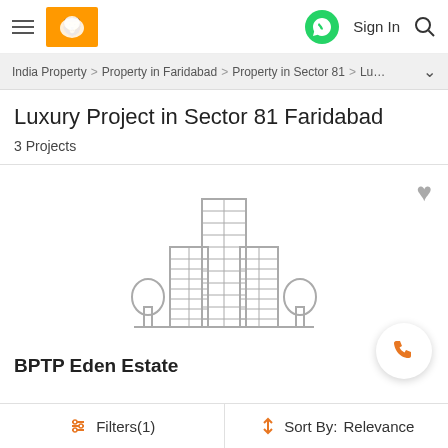Header with hamburger menu, logo, WhatsApp button, Sign In, Search
India Property > Property in Faridabad > Property in Sector 81 > Lu…
Luxury Project in Sector 81 Faridabad
3 Projects
[Figure (illustration): Building/apartment complex icon outline illustration in gray, with two trees on either side]
BPTP Eden Estate
Filters(1)   Sort By: Relevance